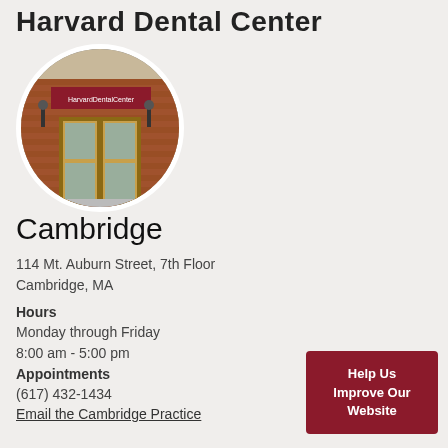Harvard Dental Center
[Figure (photo): Circular photo of the Harvard Dental Center building exterior showing brick facade and glass entry doors with red Harvard Dental Center sign]
Cambridge
114 Mt. Auburn Street, 7th Floor
Cambridge, MA
Hours
Monday through Friday
8:00 am - 5:00 pm
Appointments
(617) 432-1434
Email the Cambridge Practice
Help Us Improve Our Website